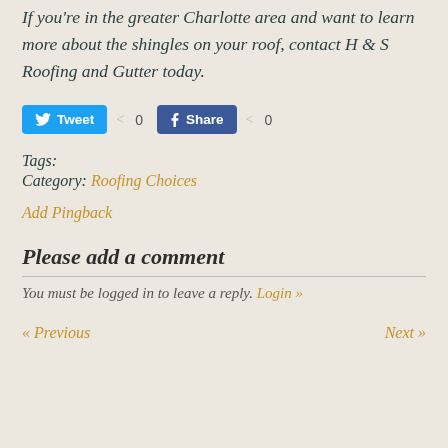If you're in the greater Charlotte area and want to learn more about the shingles on your roof, contact H & S Roofing and Gutter today.
[Figure (other): Social sharing buttons: Tweet button with count 0, Facebook Share button with count 0]
Tags:
Category: Roofing Choices
Add Pingback
Please add a comment
You must be logged in to leave a reply. Login »
« Previous    Next »